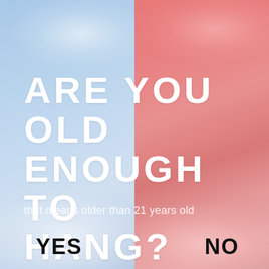[Figure (illustration): Split background: left half is a blue sky with white clouds, right half is the same sky with a red/pink tint overlay, dividing the image vertically down the center.]
ARE YOU OLD ENOUGH TO HANG?
that means older than 21 years old
YES
NO